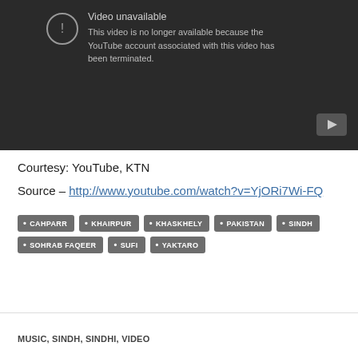[Figure (screenshot): YouTube video unavailable embed — dark background showing 'Video unavailable' message with exclamation circle icon and text: 'This video is no longer available because the YouTube account associated with this video has been terminated.' A YouTube play button is visible in the bottom-right corner.]
Courtesy: YouTube, KTN
Source – http://www.youtube.com/watch?v=YjORi7Wi-FQ
CAHPARR
KHAIRPUR
KHASKHELY
PAKISTAN
SINDH
SOHRAB FAQEER
SUFI
YAKTARO
MUSIC, SINDH, SINDHI, VIDEO